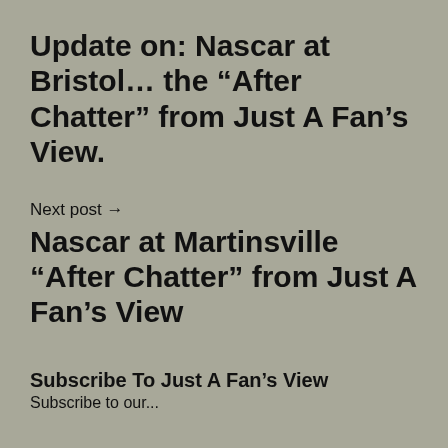Update on: Nascar at Bristol… the “After Chatter” from Just A Fan’s View.
Next post →
Nascar at Martinsville “After Chatter” from Just A Fan’s View
Subscribe To Just A Fan’s View
Subscribe to our...